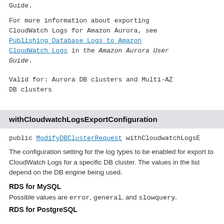Guide.
For more information about exporting CloudWatch Logs for Amazon Aurora, see Publishing Database Logs to Amazon CloudWatch Logs in the Amazon Aurora User Guide.
Valid for: Aurora DB clusters and Multi-AZ DB clusters
withCloudwatchLogsExportConfiguration
public ModifyDBClusterRequest withCloudwatchLogsE
The configuration setting for the log types to be enabled for export to CloudWatch Logs for a specific DB cluster. The values in the list depend on the DB engine being used.
RDS for MySQL
Possible values are error, general, and slowquery.
RDS for PostgreSQL